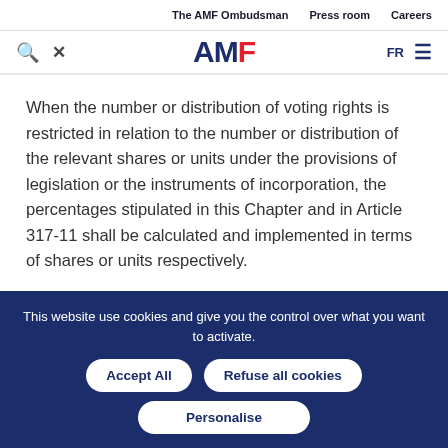The AMF Ombudsman   Press room   Careers
[Figure (logo): AMF logo with search and cross icons on the left, FR and hamburger menu on the right]
When the number or distribution of voting rights is restricted in relation to the number or distribution of the relevant shares or units under the provisions of legislation or the instruments of incorporation, the percentages stipulated in this Chapter and in Article 317-11 shall be calculated and implemented in terms of shares or units respectively.
This website use cookies and give you the control over what you want to activate.
Accept All   Refuse all cookies   Personalise